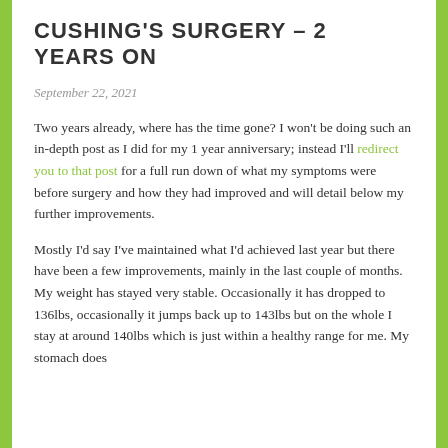CUSHING'S SURGERY – 2 YEARS ON
September 22, 2021
Two years already, where has the time gone? I won't be doing such an in-depth post as I did for my 1 year anniversary; instead I'll redirect you to that post for a full run down of what my symptoms were before surgery and how they had improved and will detail below my further improvements.
Mostly I'd say I've maintained what I'd achieved last year but there have been a few improvements, mainly in the last couple of months. My weight has stayed very stable. Occasionally it has dropped to 136lbs, occasionally it jumps back up to 143lbs but on the whole I stay at around 140lbs which is just within a healthy range for me. My stomach does